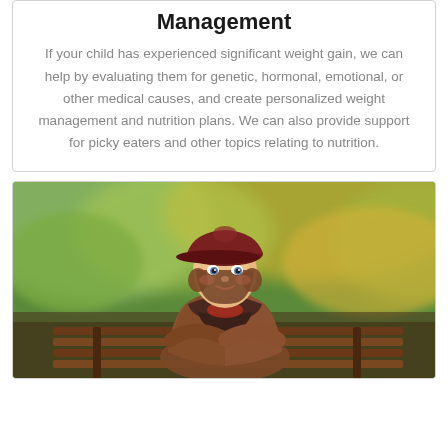Management
If your child has experienced significant weight gain, we can help by evaluating them for genetic, hormonal, emotional, or other medical causes, and create personalized weight management and nutrition plans. We can also provide support for picky eaters and other topics relating to nutrition.
[Figure (photo): A young child with curly hair wearing a dark red/maroon cap, brown leather jacket, and dark scarf, sitting on a wooden bench outdoors in an autumn park setting.]